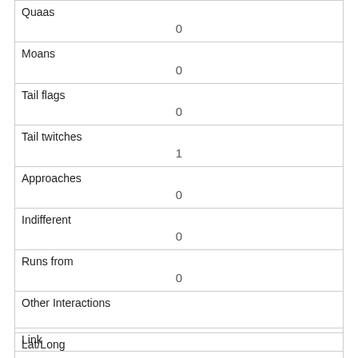| Quaas | 0 |
| Moans | 0 |
| Tail flags | 0 |
| Tail twitches | 1 |
| Approaches | 0 |
| Indifferent | 0 |
| Runs from | 0 |
| Other Interactions |  |
| Lat/Long | POINT (-73.9758564394842 40.7674758942811) |
| Link |  |